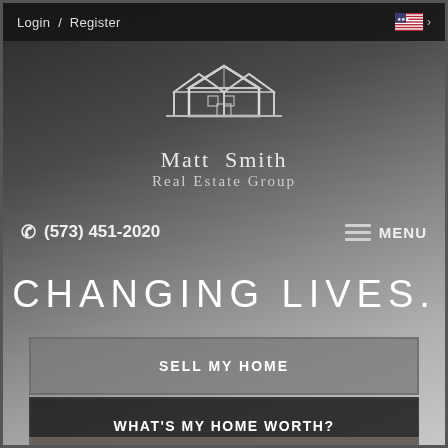Login / Register
[Figure (logo): Matt Smith Real Estate Group logo with house/roofline icon above text]
(573) 451-2020
MENU
CHANGING LIVES.
SELL MY HOME
WHAT'S MY HOME WORTH?